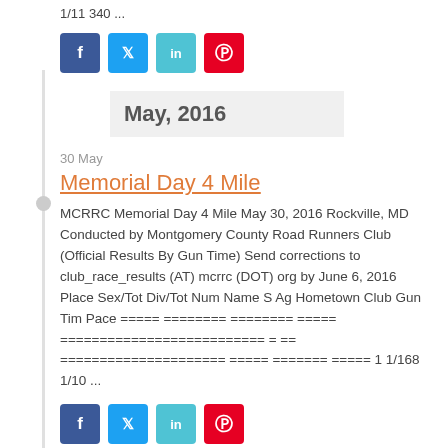1/11 340 ...
[Figure (other): Social sharing buttons: Facebook, Twitter, LinkedIn, Pinterest]
May, 2016
30 May
Memorial Day 4 Mile
MCRRC Memorial Day 4 Mile May 30, 2016 Rockville, MD Conducted by Montgomery County Road Runners Club (Official Results By Gun Time) Send corrections to club_race_results (AT) mcrrc (DOT) org by June 6, 2016 Place Sex/Tot Div/Tot Num Name S Ag Hometown Club Gun Tim Pace ===== ======== ======== ===== ========================== = == ===================== ===== ======= ===== 1 1/168 1/10 ...
[Figure (other): Social sharing buttons: Facebook, Twitter, LinkedIn, Pinterest]